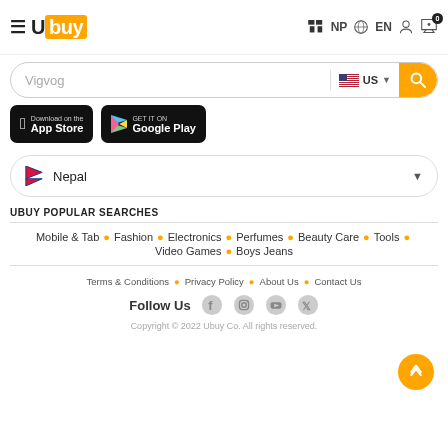Ubuy — NP | EN | Cart (0)
[Figure (screenshot): Search bar with 'Vigvog' placeholder, US flag, and search button]
[Figure (screenshot): App Store and Google Play download buttons]
[Figure (screenshot): Nepal country selector dropdown]
UBUY POPULAR SEARCHES
Mobile & Tab • Fashion • Electronics • Perfumes • Beauty Care • Tools • Video Games • Boys Jeans
Terms & Conditions • Privacy Policy • About Us • Contact Us
Follow Us
Copyright © 2022 Ubuy Co. All rights reserved.